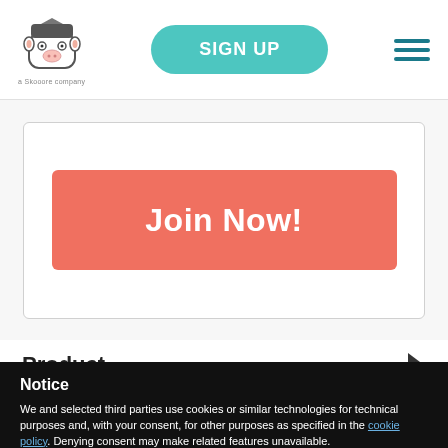SIGN UP
[Figure (logo): Cow mascot logo with graduation cap, labeled 'a Skooore company']
Join Now!
Product
Notice
We and selected third parties use cookies or similar technologies for technical purposes and, with your consent, for other purposes as specified in the cookie policy. Denying consent may make related features unavailable.
You can consent to the use of such technologies , by scrolling this page, by interacting with any link or button outside of this notice or by continuing to browse otherwise.